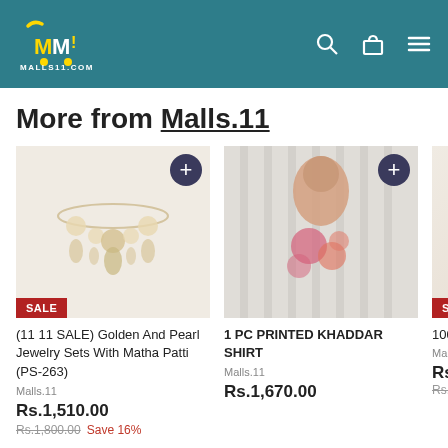Malls11.com header with logo, search, cart, and menu icons
More from Malls.11
[Figure (photo): Product image of Golden And Pearl Jewelry Sets with SALE badge]
(11 11 SALE) Golden And Pearl Jewelry Sets With Matha Patti (PS-263)
Malls.11
Rs.1,510.00
Rs.1,800.00 Save 16%
[Figure (photo): Product image of 1 PC PRINTED KHADDAR SHIRT, woman in floral printed shirt]
1 PC PRINTED KHADDAR SHIRT
Malls.11
Rs.1,670.00
[Figure (photo): Partially visible third product with SALE badge]
100% Wash
Malls.1
Rs.10
Rs.18,